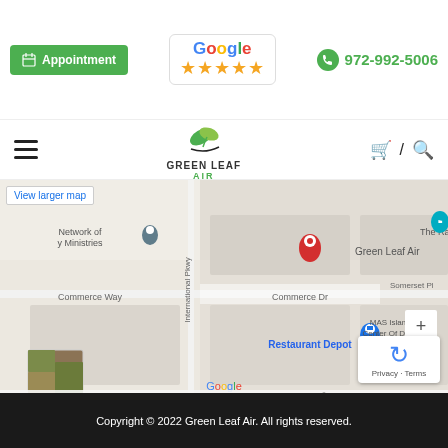[Figure (screenshot): Green Leaf Air website header with Appointment button, Google 5-star rating, and phone number 972-992-5006]
[Figure (screenshot): Navigation bar with hamburger menu, Green Leaf Air logo with leaf graphic, cart, slash, and search icons]
[Figure (map): Google Maps showing Green Leaf Air location near Commerce Dr and International Pkwy, with nearby landmarks including Restaurant Depot, Network of y Ministries, The Raindrop, MAS Islamic Center Of Dallas]
Copyright © 2022 Green Leaf Air. All rights reserved.